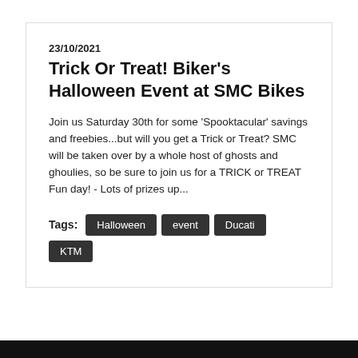23/10/2021
Trick Or Treat! Biker's Halloween Event at SMC Bikes
Join us Saturday 30th for some 'Spooktacular' savings and freebies...but will you get a Trick or Treat? SMC will be taken over by a whole host of ghosts and ghoulies, so be sure to join us for a TRICK or TREAT Fun day! - Lots of prizes up...
Tags: Halloween event Ducati KTM